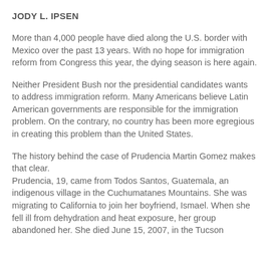JODY L. IPSEN
More than 4,000 people have died along the U.S. border with Mexico over the past 13 years. With no hope for immigration reform from Congress this year, the dying season is here again.
Neither President Bush nor the presidential candidates wants to address immigration reform. Many Americans believe Latin American governments are responsible for the immigration problem. On the contrary, no country has been more egregious in creating this problem than the United States.
The history behind the case of Prudencia Martin Gomez makes that clear.
Prudencia, 19, came from Todos Santos, Guatemala, an indigenous village in the Cuchumatanes Mountains. She was migrating to California to join her boyfriend, Ismael. When she fell ill from dehydration and heat exposure, her group abandoned her. She died June 15, 2007, in the Tucson